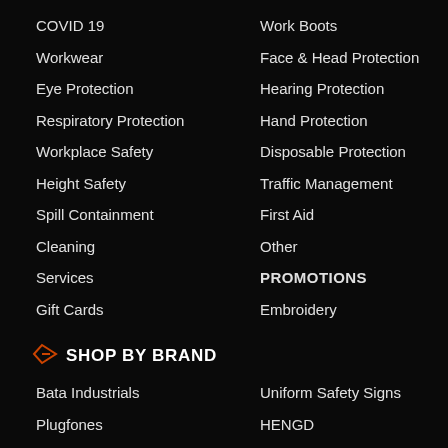COVID 19
Work Boots
Workwear
Face & Head Protection
Eye Protection
Hearing Protection
Respiratory Protection
Hand Protection
Workplace Safety
Disposable Protection
Height Safety
Traffic Management
Spill Containment
First Aid
Cleaning
Other
Services
PROMOTIONS
Gift Cards
Embroidery
SHOP BY BRAND
Bata Industrials
Uniform Safety Signs
Plugfones
HENGD